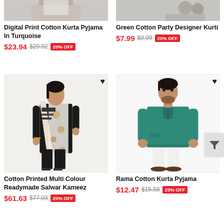[Figure (photo): Partial view of Digital Print Cotton Kurta Pyjama in Turquoise - top of garment/model visible]
Digital Print Cotton Kurta Pyjama In Turquoise
$23.94  $29.92  20% OFF
[Figure (photo): Partial view of Green Cotton Party Designer Kurti - top of garment visible]
Green Cotton Party Designer Kurti
$7.99  $9.99  20% OFF
[Figure (photo): Woman wearing Cotton Printed Multi Colour Readymade Salwar Kameez - black and white printed suit with dupatta]
Cotton Printed Multi Colour Readymade Salwar Kameez
$61.63  $77.03  20% OFF
[Figure (photo): Man wearing Rama Cotton Kurta Pyjama - teal/green kurta with white pyjama]
Rama Cotton Kurta Pyjama
$12.47  $15.58  20% OFF